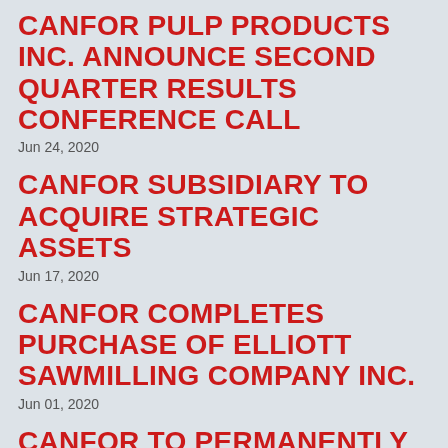CANFOR PULP PRODUCTS INC. ANNOUNCE SECOND QUARTER RESULTS CONFERENCE CALL
Jun 24, 2020
CANFOR SUBSIDIARY TO ACQUIRE STRATEGIC ASSETS
Jun 17, 2020
CANFOR COMPLETES PURCHASE OF ELLIOTT SAWMILLING COMPANY INC.
Jun 01, 2020
CANFOR TO PERMANENTLY CLOSE ISLE PIERRE MILL
May 20, 2020
CANFOR ANNOUNCES